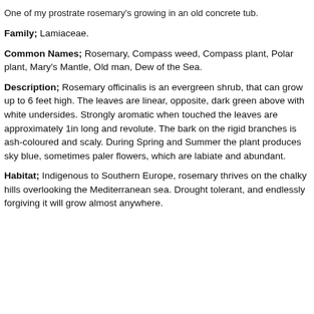One of my prostrate rosemary's growing in an old concrete tub.
Family; Lamiaceae.
Common Names; Rosemary, Compass weed, Compass plant, Polar plant, Mary's Mantle, Old man, Dew of the Sea.
Description; Rosemary officinalis is an evergreen shrub, that can grow up to 6 feet high. The leaves are linear, opposite, dark green above with white undersides. Strongly aromatic when touched the leaves are approximately 1in long and revolute. The bark on the rigid branches is ash-coloured and scaly. During Spring and Summer the plant produces sky blue, sometimes paler flowers, which are labiate and abundant.
Habitat; Indigenous to Southern Europe, rosemary thrives on the chalky hills overlooking the Mediterranean sea. Drought tolerant, and endlessly forgiving it will grow almost anywhere.